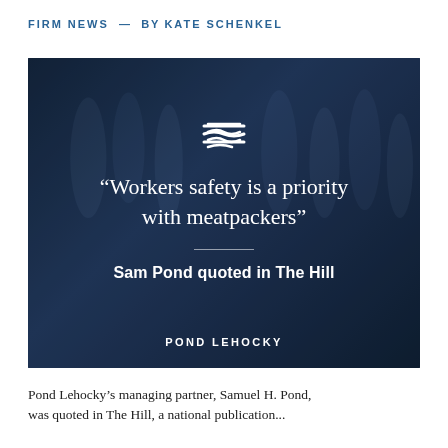FIRM NEWS — BY KATE SCHENKEL
[Figure (photo): Dark blue-toned photo of a meatpacking facility with hanging carcasses in the background. Overlaid with a firm logo (stylized waves), a quote reading “Workers safety is a priority with meatpackers”, attribution text ‘Sam Pond quoted in The Hill’, and the firm name POND LEHOCKY at the bottom.]
Pond Lehocky’s managing partner, Samuel H. Pond, was quoted in The Hill, a national publication...